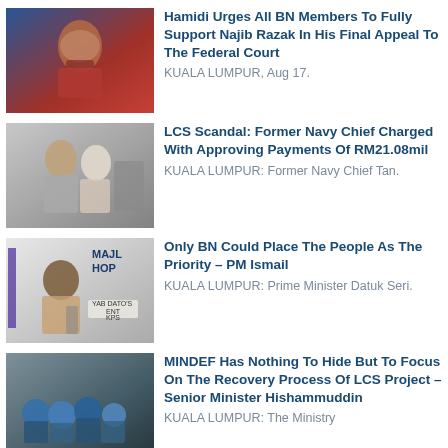[Figure (photo): Man in red clothing praying or clasping hands, blue background]
Hamidi Urges All BN Members To Fully Support Najib Razak In His Final Appeal To The Federal Court
KUALA LUMPUR, Aug 17.
[Figure (photo): Group of people walking, woman in white hijab prominent]
LCS Scandal: Former Navy Chief Charged With Approving Payments Of RM21.08mil
KUALA LUMPUR: Former Navy Chief Tan.
[Figure (photo): Man speaking at podium, MAJL HOPE sign visible in background]
Only BN Could Place The People As The Priority – PM Ismail
KUALA LUMPUR: Prime Minister Datuk Seri.
[Figure (photo): People in hard hats and masks at industrial site]
MINDEF Has Nothing To Hide But To Focus On The Recovery Process Of LCS Project – Senior Minister Hishammuddin
KUALA LUMPUR: The Ministry